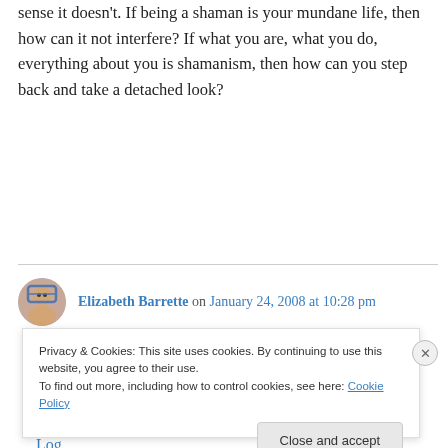sense it doesn't. If being a shaman is your mundane life, then how can it not interfere? If what you are, what you do, everything about you is shamanism, then how can you step back and take a detached look?
Log in to Reply
Elizabeth Barrette on January 24, 2008 at 10:28 pm
A lot of that sounds like a very abusive relationship. I'm not inclined to put up with that
Privacy & Cookies: This site uses cookies. By continuing to use this website, you agree to their use.
To find out more, including how to control cookies, see here: Cookie Policy
Close and accept